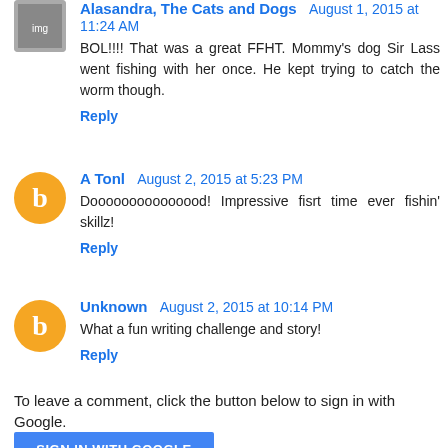Alasandra, The Cats and Dogs  August 1, 2015 at 11:24 AM
BOL!!!! That was a great FFHT. Mommy's dog Sir Lass went fishing with her once. He kept trying to catch the worm though.
Reply
A Tonl  August 2, 2015 at 5:23 PM
Dooooooooooooood! Impressive fisrt time ever fishin' skillz!
Reply
Unknown  August 2, 2015 at 10:14 PM
What a fun writing challenge and story!
Reply
To leave a comment, click the button below to sign in with Google.
SIGN IN WITH GOOGLE